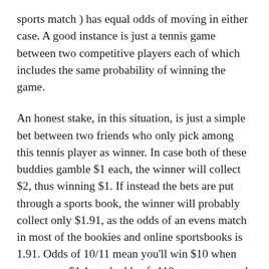sports match ) has equal odds of moving in either case. A good instance is just a tennis game between two competitive players each of which includes the same probability of winning the game.
An honest stake, in this situation, is just a simple bet between two friends who only pick among this tennis player as winner. In case both of these buddies gamble $1 each, the winner will collect $2, thus winning $1. If instead the bets are put through a sports book, the winner will probably collect only $1.91, as the odds of an evens match in most of the bookies and online sportsbooks is 1.91. Odds of 10/11 mean you'll win $10 when you wager $1 1; and odds of -110 mean you need to bet $110 in order to win $100. Anyway, since the wining is connected by a sports book in a d...